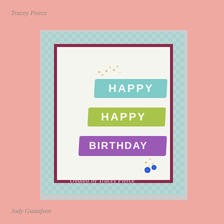Tracey Pierce
[Figure (photo): A handmade birthday card with 'Happy Happy Birthday' stamped in three colored brush strokes (teal, green, purple) on a white card with dark red border and teal gingham patterned paper background. Small floral embellishments and blue gems decorate the card. Watermark text reads 'created by Tracey Pierce'.]
Jody Gustafson